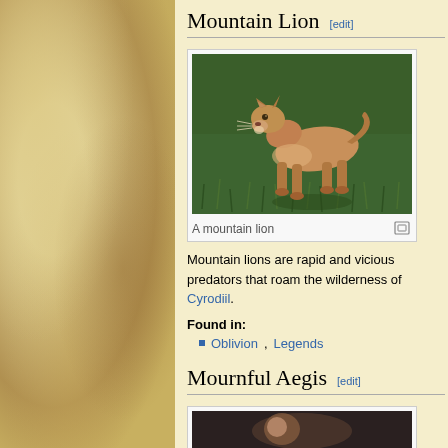Mountain Lion [edit]
[Figure (photo): A mountain lion (puma/cougar) standing on grass, viewed from slightly above, with a brownish tan coat.]
A mountain lion
Mountain lions are rapid and vicious predators that roam the wilderness of Cyrodiil.
Found in:
Oblivion, Legends
Mournful Aegis [edit]